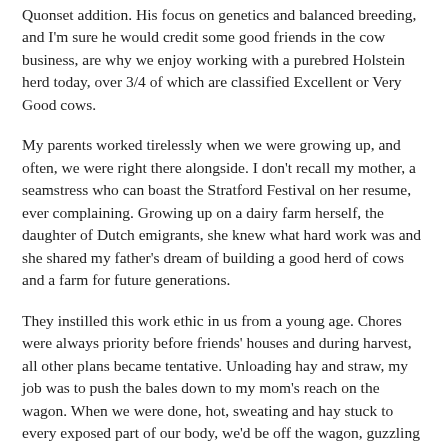Quonset addition. His focus on genetics and balanced breeding, and I'm sure he would credit some good friends in the cow business, are why we enjoy working with a purebred Holstein herd today, over 3/4 of which are classified Excellent or Very Good cows.
My parents worked tirelessly when we were growing up, and often, we were right there alongside. I don't recall my mother, a seamstress who can boast the Stratford Festival on her resume, ever complaining. Growing up on a dairy farm herself, the daughter of Dutch emigrants, she knew what hard work was and she shared my father's dream of building a good herd of cows and a farm for future generations.
They instilled this work ethic in us from a young age. Chores were always priority before friends' houses and during harvest, all other plans became tentative. Unloading hay and straw, my job was to push the bales down to my mom's reach on the wagon. When we were done, hot, sweating and hay stuck to every exposed part of our body, we'd be off the wagon, guzzling ice cold water from a blue Coleman cooler jug, before the clanging elevator chain had even come to stop. You could taste the minerals on your tongue as